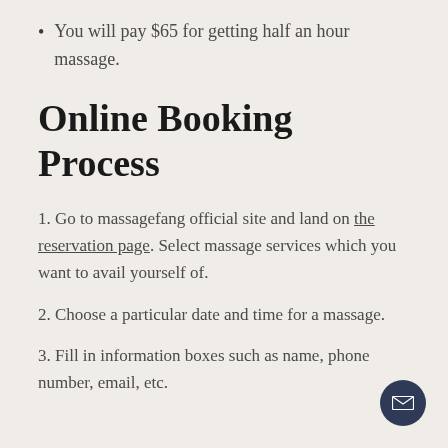You will pay $65 for getting half an hour massage.
Online Booking Process
1. Go to massagefang official site and land on the reservation page. Select massage services which you want to avail yourself of.
2. Choose a particular date and time for a massage.
3. Fill in information boxes such as name, phone number, email, etc.